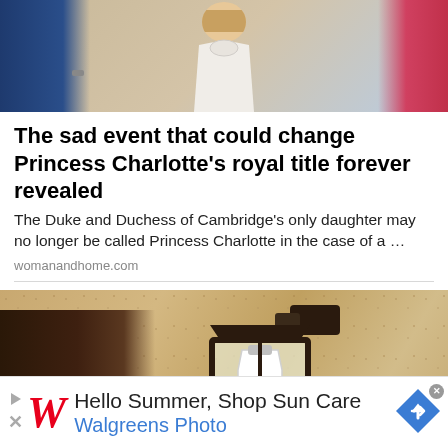[Figure (photo): Partial photo of royal family members, including a child in a white dress with collar, an adult in a blue suit on the left, and a person in pink on the right]
The sad event that could change Princess Charlotte's royal title forever revealed
The Duke and Duchess of Cambridge's only daughter may no longer be called Princess Charlotte in the case of a …
womanandhome.com
[Figure (photo): Close-up photo of a black metal outdoor lantern mounted on a stucco wall, with a white milk bottle inside it]
Hello Summer, Shop Sun Care Walgreens Photo